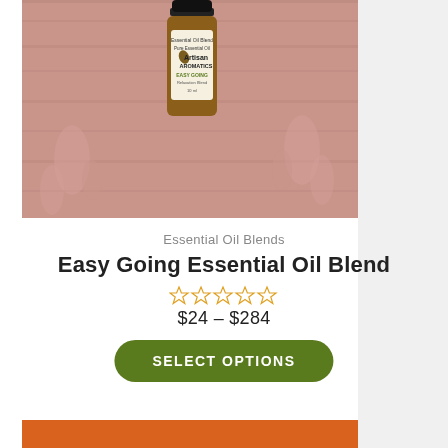[Figure (photo): A small amber essential oil bottle with black cap labeled 'Essential Oil Blend, Pure Essential Oil, Artisan Aromatics, Easy Going, Relaxation Blend, 10ml' placed on a pink/mauve wooden surface with soft floral background.]
Essential Oil Blends
Easy Going Essential Oil Blend
★★★★★ (empty stars rating)
$24 – $284
SELECT OPTIONS